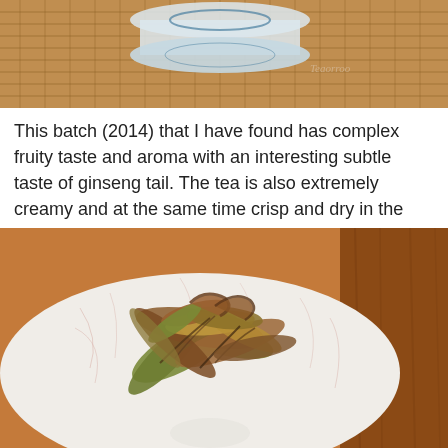[Figure (photo): Top photo showing a tea bowl/cup on a woven bamboo mat background, warm brown tones with text watermark partially visible]
This batch (2014) that I have found has complex fruity taste and aroma with an interesting subtle taste of ginseng tail. The tea is also extremely creamy and at the same time crisp and dry in the mouth. It is a very unique batch.
[Figure (photo): Close-up photo of dried tea leaves on a white crackle-glaze ceramic dish, with a wooden surface partially visible on the right. The leaves are brown, olive green and golden colored.]